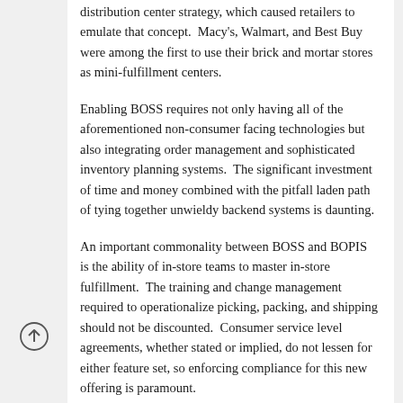distribution center strategy, which caused retailers to emulate that concept.  Macy's, Walmart, and Best Buy were among the first to use their brick and mortar stores as mini-fulfillment centers.
Enabling BOSS requires not only having all of the aforementioned non-consumer facing technologies but also integrating order management and sophisticated inventory planning systems.  The significant investment of time and money combined with the pitfall laden path of tying together unwieldy backend systems is daunting.
An important commonality between BOSS and BOPIS is the ability of in-store teams to master in-store fulfillment.  The training and change management required to operationalize picking, packing, and shipping should not be discounted.  Consumer service level agreements, whether stated or implied, do not lessen for either feature set, so enforcing compliance for this new offering is paramount.
In the end, BOSS is a true inventory optimizer and when deployed correctly can improve sell-through, gross profit,